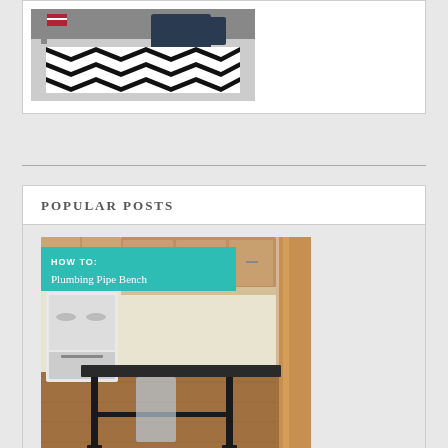[Figure (photo): Photo of a living room with a black and white chevron/zigzag patterned rug on the floor, with dark leather sofas and an American flag visible in the background.]
POPULAR POSTS
[Figure (photo): DIY tutorial image showing a plumbing pipe bench with a dark wood top and black metal pipe legs, set in a kitchen. A teal banner overlay reads 'HOW TO: Plumbing Pipe Bench'. A wood post is visible on the right side.]